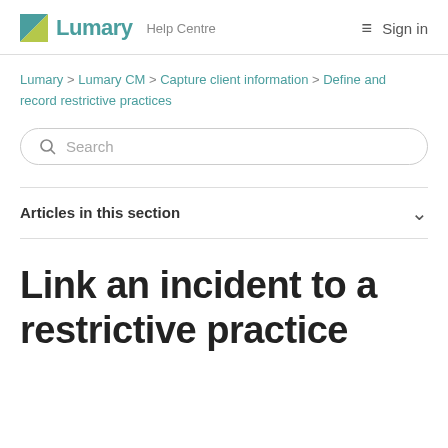Lumary Help Centre — Sign in
Lumary > Lumary CM > Capture client information > Define and record restrictive practices
Search
Articles in this section
Link an incident to a restrictive practice